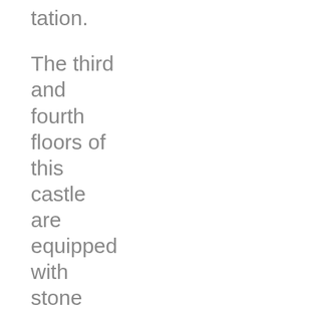tation. The third and fourth floors of this castle are equipped with stone throwing platforms. These platforms serve